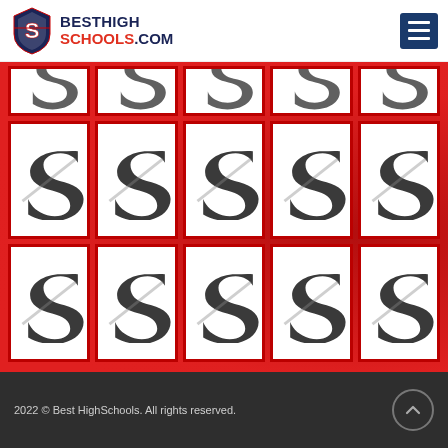BestHighSchools.com
[Figure (illustration): Grid of 15 'S' logo icons (3 rows x 5 columns) on a red background, representing placeholder school images]
2022 © Best HighSchools. All rights reserved.